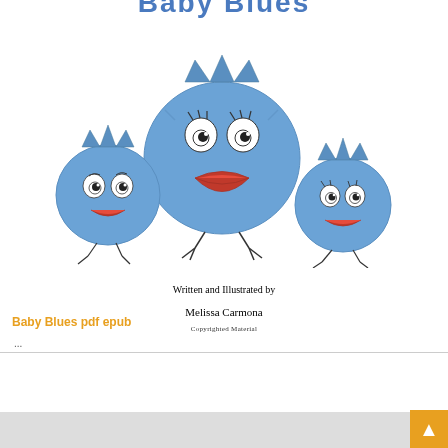[Figure (illustration): Three round blue cartoon bird/chick characters drawn in crayon style. The large central character has a crown, big eyes, red lips, and small feet. Two smaller similar characters flank it on the left and right, each also with crowns, eyes, smiles, and small feet.]
Written and Illustrated by
Melissa Carmona
Copyrighted Material
Baby Blues pdf epub
...